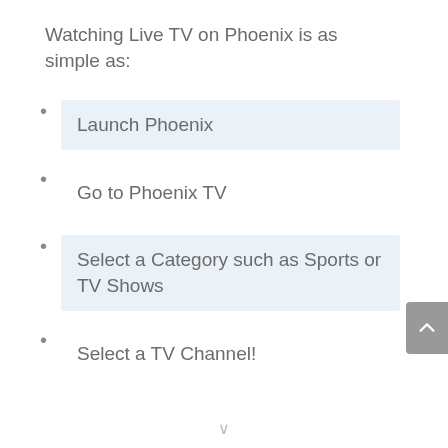Watching Live TV on Phoenix is as simple as:
Launch Phoenix
Go to Phoenix TV
Select a Category such as Sports or TV Shows
Select a TV Channel!